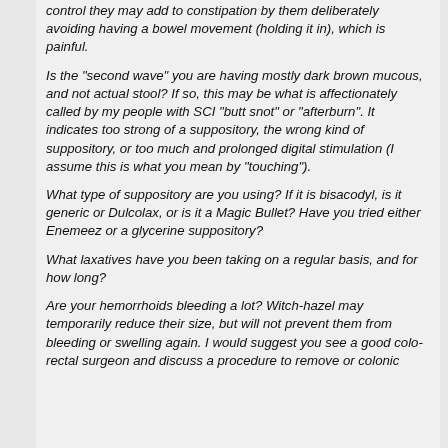control they may add to constipation by them deliberately avoiding having a bowel movement (holding it in), which is painful.
Is the "second wave" you are having mostly dark brown mucous, and not actual stool? If so, this may be what is affectionately called by my people with SCI "butt snot" or "afterburn". It indicates too strong of a suppository, the wrong kind of suppository, or too much and prolonged digital stimulation (I assume this is what you mean by "touching").
What type of suppository are you using? If it is bisacodyl, is it generic or Dulcolax, or is it a Magic Bullet? Have you tried either Enemeez or a glycerine suppository?
What laxatives have you been taking on a regular basis, and for how long?
Are your hemorrhoids bleeding a lot? Witch-hazel may temporarily reduce their size, but will not prevent them from bleeding or swelling again. I would suggest you see a good colo-rectal surgeon and discuss a procedure to remove or colonic...